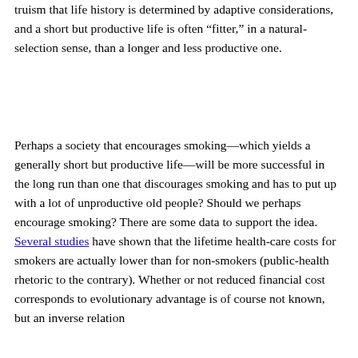truism that life history is determined by adaptive considerations, and a short but productive life is often “fitter,” in a natural-selection sense, than a longer and less productive one.
Perhaps a society that encourages smoking—which yields a generally short but productive life—will be more successful in the long run than one that discourages smoking and has to put up with a lot of unproductive old people? Should we perhaps encourage smoking? There are some data to support the idea. Several studies have shown that the lifetime health-care costs for smokers are actually lower than for non-smokers (public-health rhetoric to the contrary). Whether or not reduced financial cost corresponds to evolutionary advantage is of course not known, but an inverse relation